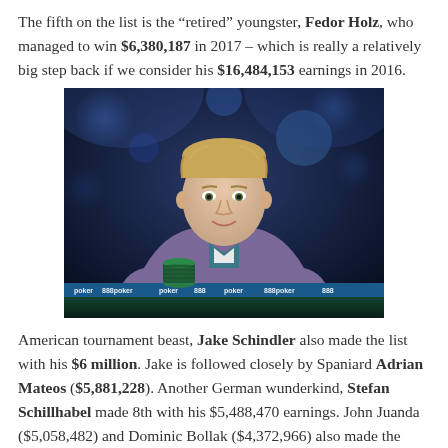The fifth on the list is the “retired” youngster, Fedor Holz, who managed to win $6,380,187 in 2017 – which is really a relatively big step back if we consider his $16,484,153 earnings in 2016.
[Figure (photo): Photo of Fedor Holz, a young man with short blonde hair wearing a purple hoodie, seated at a poker table with chip stacks in front of him. The background shows blue stage lighting. An 888poker banner is visible on the table.]
American tournament beast, Jake Schindler also made the list with his $6 million. Jake is followed closely by Spaniard Adrian Mateos ($5,881,228). Another German wunderkind, Stefan Schillhabel made 8th with his $5,488,470 earnings. John Juanda ($5,058,482) and Dominic Bollak ($4,372,966) also made the